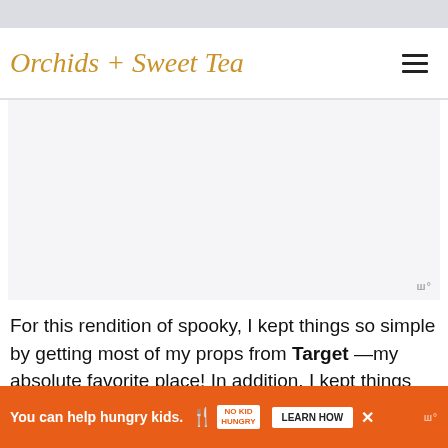Orchids + Sweet Tea
[Figure (photo): Large image placeholder with light gray background, mediavine watermark in bottom right corner]
For this rendition of spooky, I kept things so simple by getting most of my props from Target —my absolute favorite place! In addition, I kept things themed in color—-as you can see, there's a ton of black, gray, white, orange—-all colors
[Figure (infographic): Orange ad banner: 'You can help hungry kids.' with No Kid Hungry logo and LEARN HOW button]